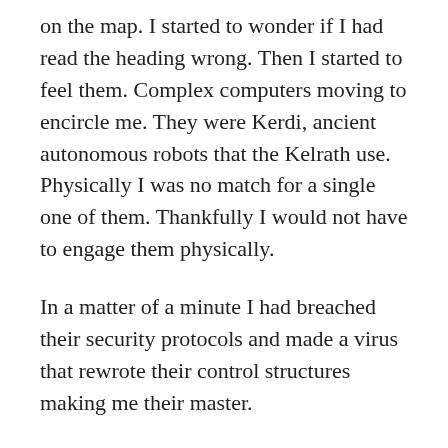on the map. I started to wonder if I had read the heading wrong. Then I started to feel them. Complex computers moving to encircle me. They were Kerdi, ancient autonomous robots that the Kelrath use. Physically I was no match for a single one of them. Thankfully I would not have to engage them physically.
In a matter of a minute I had breached their security protocols and made a virus that rewrote their control structures making me their master.
I could read their somewhat limited memory but as more and more of them fell under the influence of my virus, I could see the full extent of the tomb. The structure took up an entire hex, ten kilometers across. It was highly fortified, with the Kerdi’s protection, it could hold off an army. Unfortunately the Kerdi were